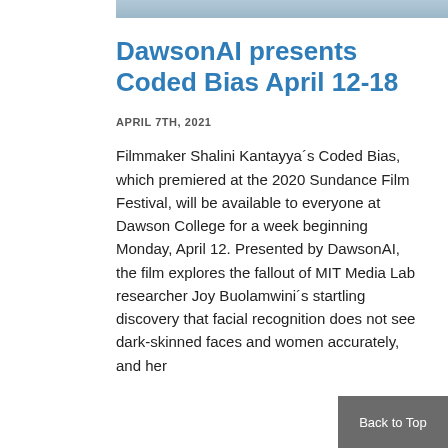[Figure (photo): Partial view of a photograph at the top of the page, showing blurred or cropped image content]
DawsonAI presents Coded Bias April 12-18
APRIL 7TH, 2021
Filmmaker Shalini Kantayya´s Coded Bias, which premiered at the 2020 Sundance Film Festival, will be available to everyone at Dawson College for a week beginning Monday, April 12. Presented by DawsonAI, the film explores the fallout of MIT Media Lab researcher Joy Buolamwini´s startling discovery that facial recognition does not see dark-skinned faces and women accurately, and her
Back to Top